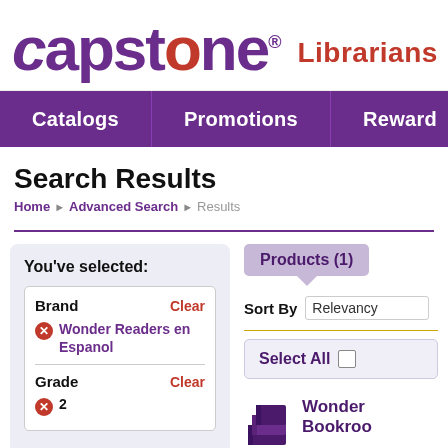[Figure (logo): Capstone logo with purple italic text and red 'o', followed by red 'Librarians' text]
Catalogs  Promotions  Rewards
Search Results
Home > Advanced Search > Results
You've selected:
Brand  Clear
⊗ Wonder Readers en Espanol
Grade  Clear
⊗ 2
Products (1)
Sort By Relevancy
Select All
Wonder Bookroo...